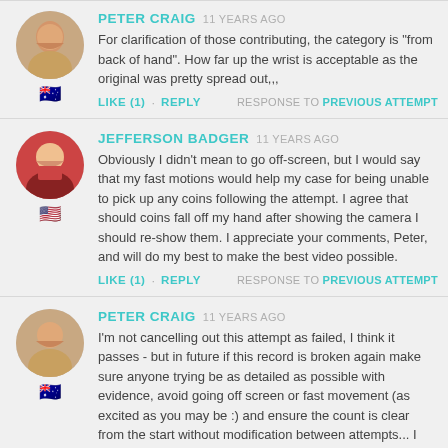PETER CRAIG 11 YEARS AGO
For clarification of those contributing, the category is "from back of hand". How far up the wrist is acceptable as the original was pretty spread out,,,
LIKE (1) · REPLY   RESPONSE TO PREVIOUS ATTEMPT
JEFFERSON BADGER 11 YEARS AGO
Obviously I didn't mean to go off-screen, but I would say that my fast motions would help my case for being unable to pick up any coins following the attempt. I agree that should coins fall off my hand after showing the camera I should re-show them. I appreciate your comments, Peter, and will do my best to make the best video possible.
LIKE (1) · REPLY   RESPONSE TO PREVIOUS ATTEMPT
PETER CRAIG 11 YEARS AGO
I'm not cancelling out this attempt as failed, I think it passes - but in future if this record is broken again make sure anyone trying be as detailed as possible with evidence, avoid going off screen or fast movement (as excited as you may be :) and ensure the count is clear from the start without modification between attempts... I love seeing the final records, but I actually enjoy the process personally - I'd love to see the progression or countless failed attempts with all the "ooohs" and "ahhh!" and